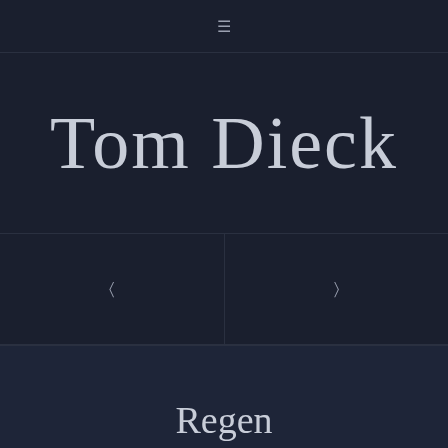☰
Tom Dieck
◁
▷
Regen
We use cookies on our website to give you the most relevant experience by remembering your preferences and repeat visits. By clicking "Accept", you consent to the use of ALL the cookies.
Cookie settings
ACCEPT